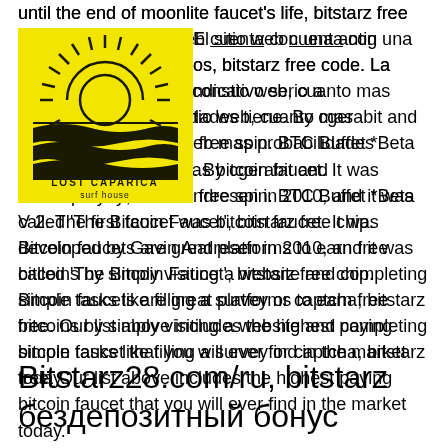until the end of moonlite faucet's life, bitstarz free chip codes. El sitio web cuenta con una antigüedad de varios años, bitstarz free code. La antigüedad es un indicativo serio a considerar en un sitio web, cuanto mas antiguo sea el web mas probabilidades tiene de ser fiable. By cgerabit and AviramDayan, bitstarz free spin. BTC Buffet *Beta V 2. The first faucet was bitcoin faucet. It was developed by Gavin Andresen in 2010, and it was called 'The Bitcoin Faucet', bitstarz free chip. Bitcoin faucets are great platforms to earn free bitcoins by simply visiting a website and completing simple tasks like filling a survey or captcha, bitstarz free. Our list above includes the highest paying bitcoin faucet that you will ever find in the market today.
[Figure (logo): Lost Caparica Surf House logo — yellow square background with a sun rising over stylized waves, text 'LOST CAPARICA surf house' below]
Bitstarz28.com/ru, bitstarz бездепозитный бонус